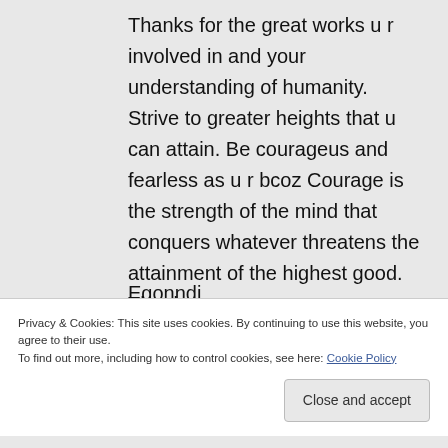Thanks for the great works u r involved in and your understanding of humanity. Strive to greater heights that u can attain. Be courageus and fearless as u r bcoz Courage is the strength of the mind that conquers whatever threatens the attainment of the highest good. Thanks
Egonndi
Privacy & Cookies: This site uses cookies. By continuing to use this website, you agree to their use.
To find out more, including how to control cookies, see here: Cookie Policy
Close and accept